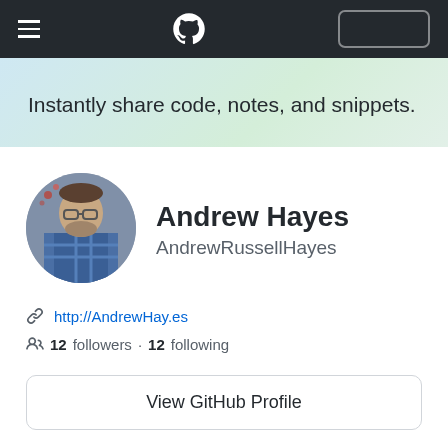[Figure (screenshot): GitHub mobile navigation bar with hamburger menu, GitHub logo, and sign-in button]
Instantly share code, notes, and snippets.
[Figure (photo): Circular profile photo of Andrew Hayes, a man with glasses and a plaid shirt]
Andrew Hayes
AndrewRussellHayes
http://AndrewHay.es
12 followers · 12 following
View GitHub Profile